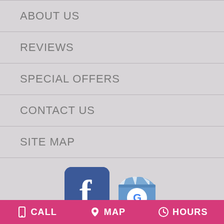ABOUT US
REVIEWS
SPECIAL OFFERS
CONTACT US
SITE MAP
[Figure (logo): Facebook logo icon and Google My Business logo icon side by side]
DAFFODILS
1935 W. ARMITAGE AVE.
CALL   MAP   HOURS